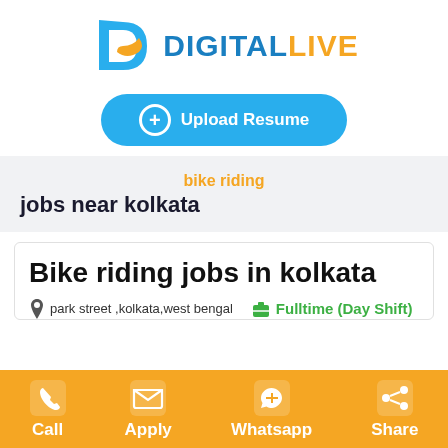[Figure (logo): DigitalLive logo with stylized D icon in blue/orange and text DIGITALLIVE]
[Figure (infographic): Upload Resume button in blue with plus icon]
bike riding
jobs near kolkata
Bike riding jobs in kolkata
park street ,kolkata,west bengal   Fulltime (Day Shift)
[Figure (infographic): Bottom action bar with Call, Apply, Whatsapp, Share buttons on orange background]